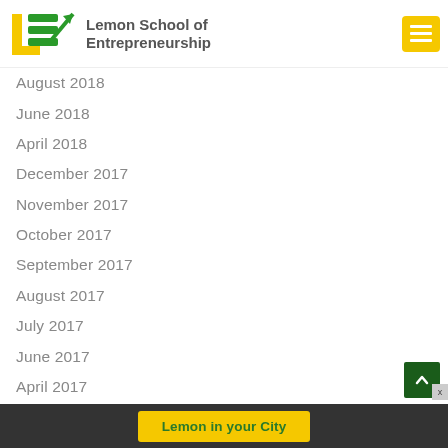[Figure (logo): Lemon School of Entrepreneurship logo with LSE letters in yellow and green with upward arrow]
Lemon School of Entrepreneurship
August 2018
June 2018
April 2018
December 2017
November 2017
October 2017
September 2017
August 2017
July 2017
June 2017
April 2017
March 2017
January 2017
Lemon in your City